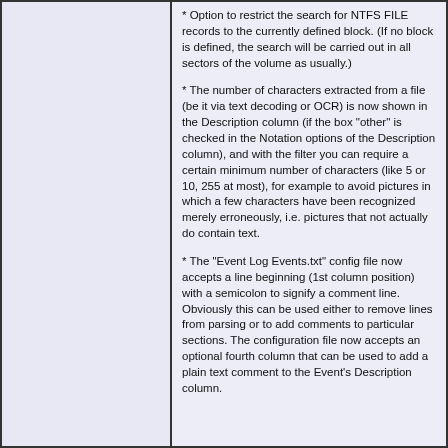* Option to restrict the search for NTFS FILE records to the currently defined block. (If no block is defined, the search will be carried out in all sectors of the volume as usually.)
* The number of characters extracted from a file (be it via text decoding or OCR) is now shown in the Description column (if the box "other" is checked in the Notation options of the Description column), and with the filter you can require a certain minimum number of characters (like 5 or 10, 255 at most), for example to avoid pictures in which a few characters have been recognized merely erroneously, i.e. pictures that not actually do contain text.
* The "Event Log Events.txt" config file now accepts a line beginning (1st column position) with a semicolon to signify a comment line. Obviously this can be used either to remove lines from parsing or to add comments to particular sections. The configuration file now accepts an optional fourth column that can be used to add a plain text comment to the Event's Description column.